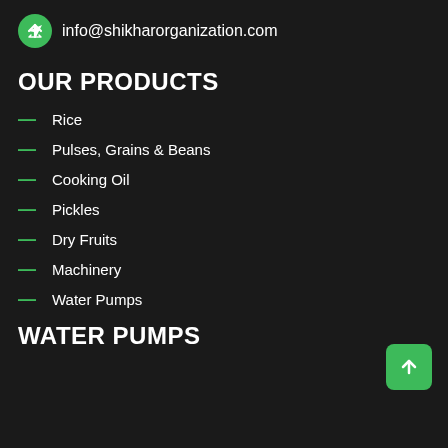info@shikharorganization.com
OUR PRODUCTS
Rice
Pulses, Grains & Beans
Cooking Oil
Pickles
Dry Fruits
Machinery
Water Pumps
WATER PUMPS